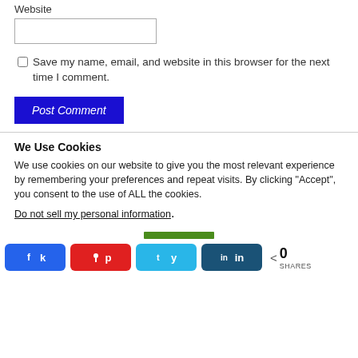Website
Save my name, email, and website in this browser for the next time I comment.
Post Comment
We Use Cookies
We use cookies on our website to give you the most relevant experience by remembering your preferences and repeat visits. By clicking "Accept", you consent to the use of ALL the cookies.
Do not sell my personal information.
0 SHARES